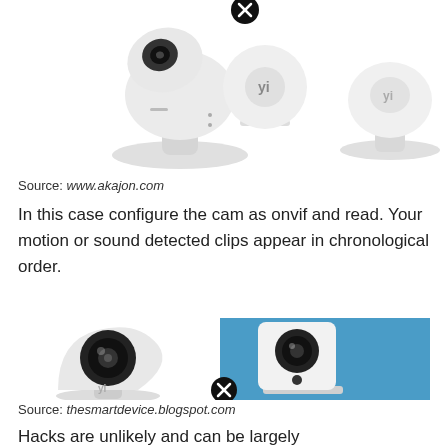[Figure (photo): Three white security cameras shown from above, with a black circle X overlay icon in the center. Cameras are white dome-style and globe-style models.]
Source: www.akajon.com
In this case configure the cam as onvif and read. Your motion or sound detected clips appear in chronological order.
[Figure (photo): Two security cameras side by side: left is a white Yi camera on white background, right is a white square Wyze cam on blue background. Black circle X overlay icon at the bottom center.]
Source: thesmartdevice.blogspot.com
Hacks are unlikely and can be largely